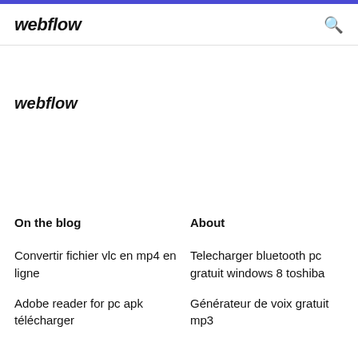webflow
webflow
On the blog
About
Convertir fichier vlc en mp4 en ligne
Telecharger bluetooth pc gratuit windows 8 toshiba
Adobe reader for pc apk télécharger
Générateur de voix gratuit mp3